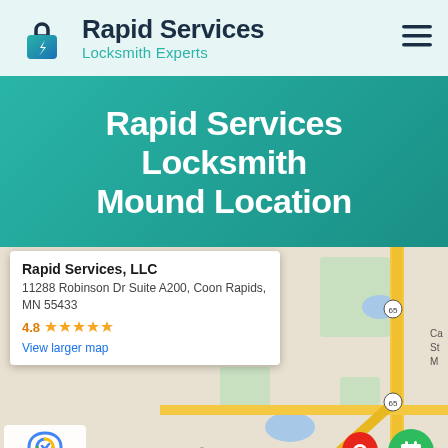[Figure (logo): Rapid Services Locksmith Experts logo with padlock icon]
Rapid Services Locksmith Mound Location
[Figure (map): Google Maps embed showing location at 11288 Robinson Dr Suite A200, Coon Rapids, MN 55433 with an info card showing 4.8 stars rating and a red pin labeled Rapid Services near Anoka, MN area. Map shows Ramsey, Ham Lake, Andover, Anoka locations.]